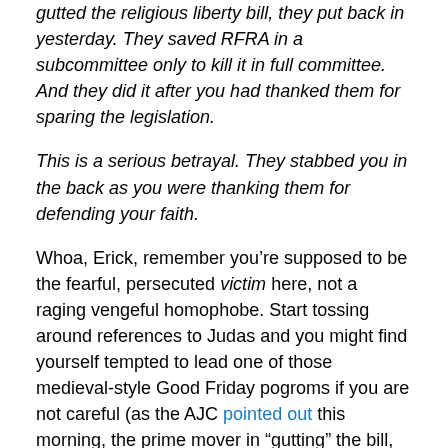gutted the religious liberty bill, they put back in yesterday. They saved RFRA in a subcommittee only to kill it in full committee. And they did it after you had thanked them for sparing the legislation.
This is a serious betrayal. They stabbed you in the back as you were thanking them for defending your faith.
Whoa, Erick, remember you’re supposed to be the fearful, persecuted victim here, not a raging vengeful homophobe. Start tossing around references to Judas and you might find yourself tempted to lead one of those medieval-style Good Friday pogroms if you are not careful (as the AJC pointed out this morning, the prime mover in “gutting” the bill, Mark Jacobs, is Jewish).
What the incident makes clear, of course, is that the whole point of “religious liberty” legislation is to sanction